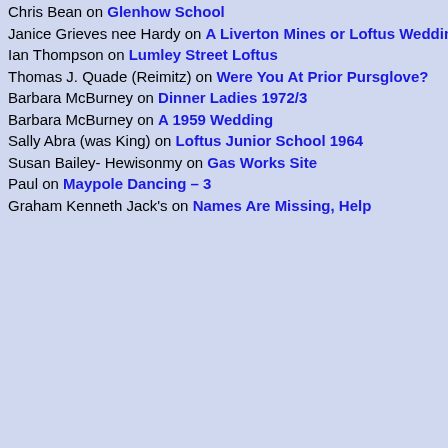Chris Bean on Glenhow School
Janice Grieves nee Hardy on A Liverton Mines or Loftus Wedding?
Ian Thompson on Lumley Street Loftus
Thomas J. Quade (Reimitz) on Were You At Prior Pursglove?
Barbara McBurney on Dinner Ladies 1972/3
Barbara McBurney on A 1959 Wedding
Sally Abra (was King) on Loftus Junior School 1964
Susan Bailey- Hewisonmy on Gas Works Site
Paul on Maypole Dancing – 3
Graham Kenneth Jack's on Names Are Missing, Help
denventodaybythewoodsbellowHig